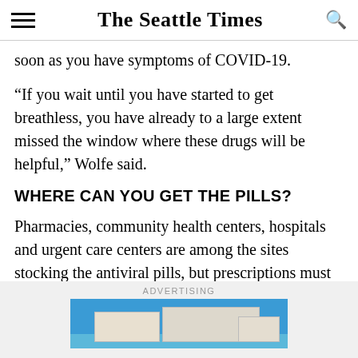The Seattle Times
soon as you have symptoms of COVID-19.
“If you wait until you have started to get breathless, you have already to a large extent missed the window where these drugs will be helpful,” Wolfe said.
WHERE CAN YOU GET THE PILLS?
Pharmacies, community health centers, hospitals and urgent care centers are among the sites stocking the antiviral pills, but prescriptions must come from a doctor or other authorized health worker.
ADVERTISING